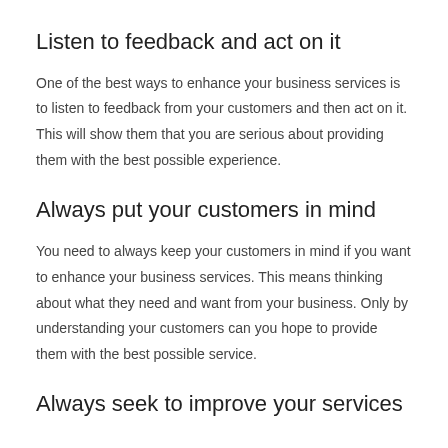Listen to feedback and act on it
One of the best ways to enhance your business services is to listen to feedback from your customers and then act on it. This will show them that you are serious about providing them with the best possible experience.
Always put your customers in mind
You need to always keep your customers in mind if you want to enhance your business services. This means thinking about what they need and want from your business. Only by understanding your customers can you hope to provide them with the best possible service.
Always seek to improve your services